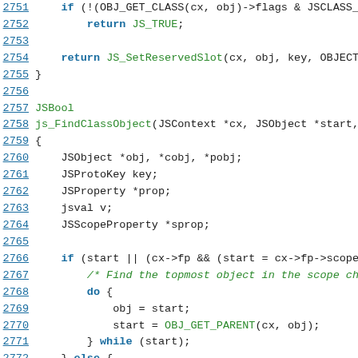Source code listing, lines 2751-2773, C/JavaScript engine code